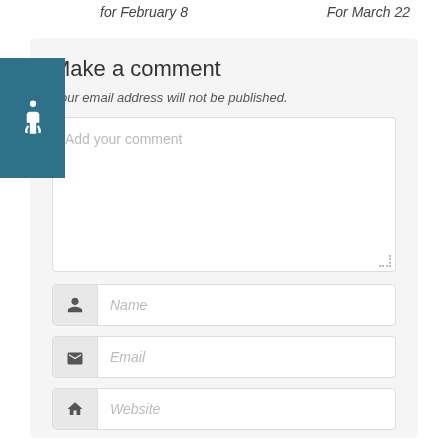for February 8    For March 22
Make a comment
Your email address will not be published.
Add your comment
Name
Email
Website